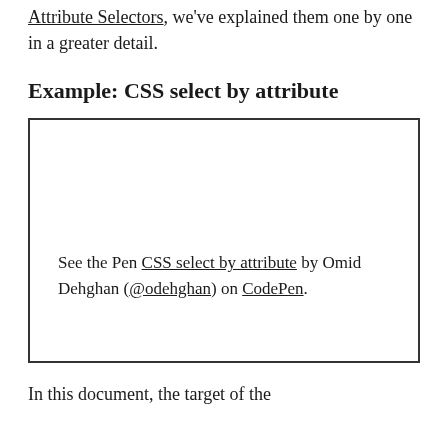Attribute Selectors, we've explained them one by one in a greater detail.
Example: CSS select by attribute
[Figure (other): Embedded CodePen iframe box with text: See the Pen CSS select by attribute by Omid Dehghan (@odehghan) on CodePen.]
In this document, the target of the